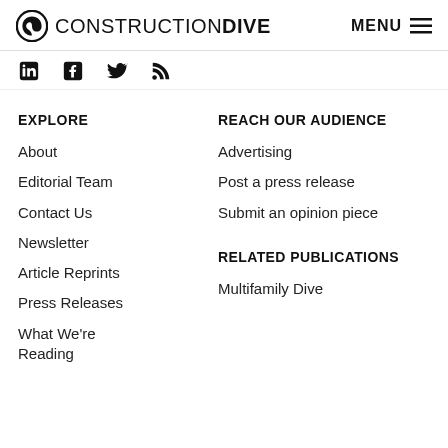CONSTRUCTION DIVE  MENU
[Figure (other): Social media icons: LinkedIn, Facebook, Twitter, RSS feed]
EXPLORE
About
Editorial Team
Contact Us
Newsletter
Article Reprints
Press Releases
What We're Reading
REACH OUR AUDIENCE
Advertising
Post a press release
Submit an opinion piece
RELATED PUBLICATIONS
Multifamily Dive